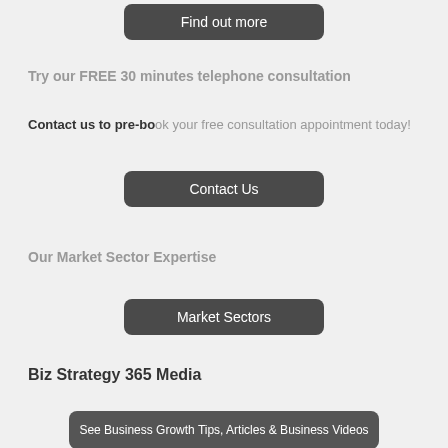Find out more
Try our FREE 30 minutes telephone consultation
Contact us to pre-book your free consultation appointment today!
Contact Us
Our Market Sector Expertise
Market Sectors
Biz Strategy 365 Media
See Business Growth Tips, Articles & Business Videos